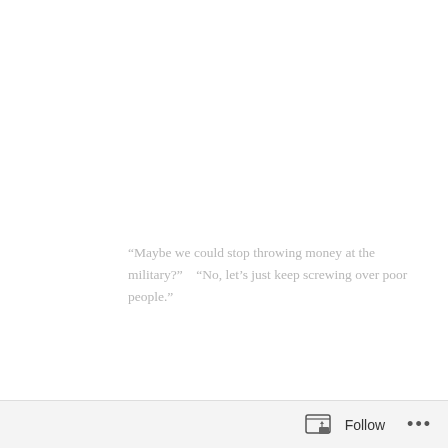“Maybe we could stop throwing money at the military?”    “No, let’s just keep screwing over poor people.”
President Obama has taken heat from the GOP for suggesting that increases in defense spending could be cut in order to help balance the budget.  Keep in mind that he is not advocating actually cutting the funds for defense, merely slowing the rate at which these funds increase.
But, Republicans demand that defense spending should continue to grow unabated, as they believe that the only
Follow